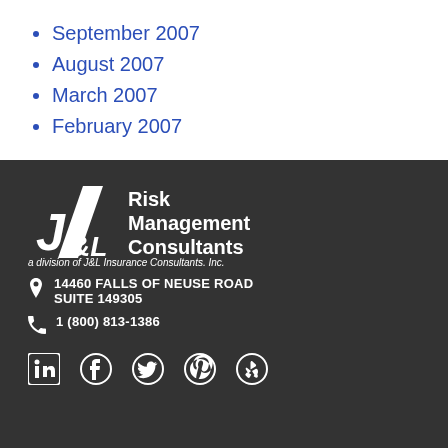September 2007
August 2007
March 2007
February 2007
[Figure (logo): J&L Risk Management Consultants logo — a division of J&L Insurance Consultants, Inc.]
14460 FALLS OF NEUSE ROAD SUITE 149305
1 (800) 813-1386
[Figure (infographic): Social media icons: LinkedIn, Facebook, Twitter, Pinterest, Yelp]